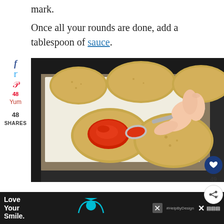mark.
Once all your rounds are done, add a tablespoon of sauce.
[Figure (photo): A hand using a spoon to spread red tomato sauce onto a breaded round piece on parchment paper on a baking sheet, with more breaded rounds visible in the background.]
Love Your Smile. #HelpByDesign